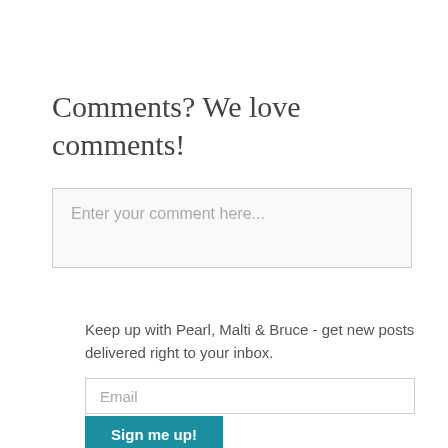Comments? We love comments!
Enter your comment here...
Keep up with Pearl, Malti & Bruce - get new posts delivered right to your inbox.
Email
Sign me up!